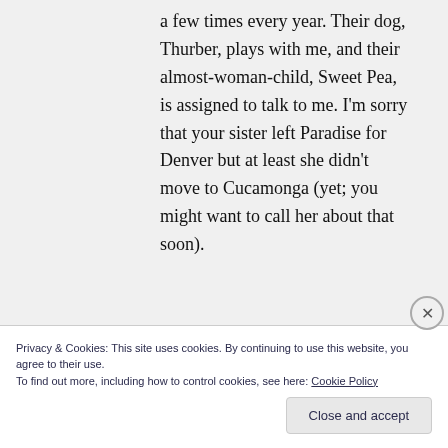a few times every year. Their dog, Thurber, plays with me, and their almost-woman-child, Sweet Pea, is assigned to talk to me. I'm sorry that your sister left Paradise for Denver but at least she didn't move to Cucamonga (yet; you might want to call her about that soon).
Privacy & Cookies: This site uses cookies. By continuing to use this website, you agree to their use.
To find out more, including how to control cookies, see here: Cookie Policy
Close and accept